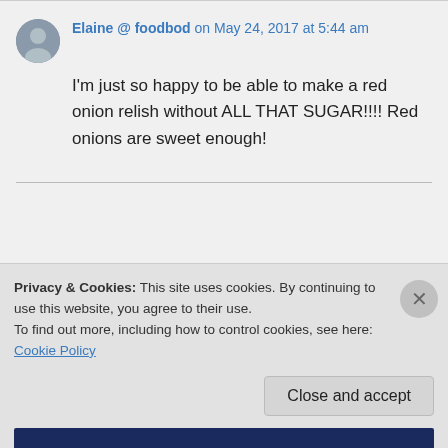Elaine @ foodbod on May 24, 2017 at 5:44 am
I'm just so happy to be able to make a red onion relish without ALL THAT SUGAR!!!! Red onions are sweet enough!
Privacy & Cookies: This site uses cookies. By continuing to use this website, you agree to their use. To find out more, including how to control cookies, see here: Cookie Policy
Close and accept